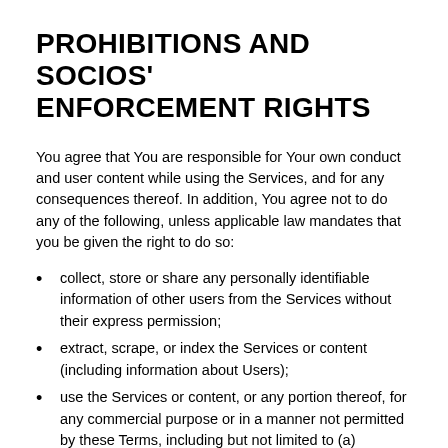PROHIBITIONS AND SOCIOS' ENFORCEMENT RIGHTS
You agree that You are responsible for Your own conduct and user content while using the Services, and for any consequences thereof. In addition, You agree not to do any of the following, unless applicable law mandates that you be given the right to do so:
collect, store or share any personally identifiable information of other users from the Services without their express permission;
extract, scrape, or index the Services or content (including information about Users);
use the Services or content, or any portion thereof, for any commercial purpose or in a manner not permitted by these Terms, including but not limited to (a) gathering in-App items or resources for sale outside the Apps, (b) performing Services in the Apps in exchange for payment outside the Apps, or